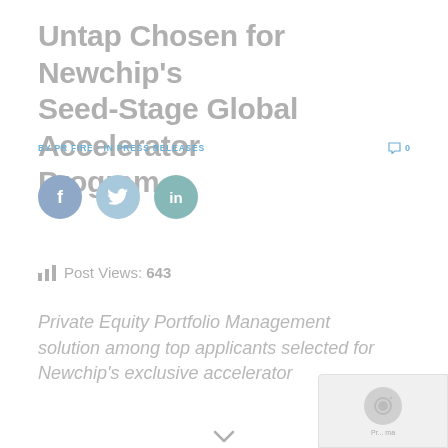Untap Chosen for Newchip's Seed-Stage Global Accelerator Program
BY PR FIRE - IN PRESS RELEASES
[Figure (other): Social sharing buttons: Facebook, Twitter, LinkedIn circular icons]
Post Views: 643
Private Equity Portfolio Management solution among top applicants selected for Newchip's exclusive accelerator